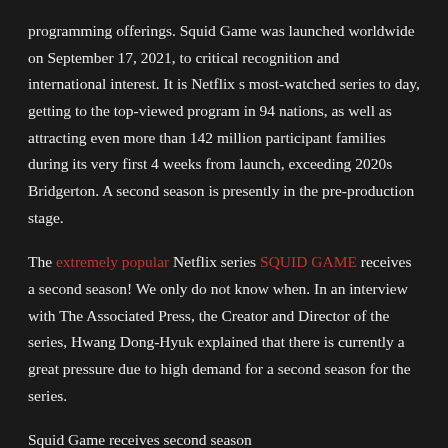programming offerings. Squid Game was launched worldwide on September 17, 2021, to critical recognition and international interest. It is Netflix s most-watched series to day, getting to the top-viewed program in 94 nations, as well as attracting even more than 142 million participant families during its very first 4 weeks from launch, exceeding 2020s Bridgerton. A second season is presently in the pre-production stage.
The extremely popular Netflix series SQUID GAME receives a second season! We only do not know when. In an interview with The Associated Press, the Creator and Director of the series, Hwang Dong-Hyuk explained that there is currently a great pressure due to high demand for a second season for the series.
Squid Game receives second season